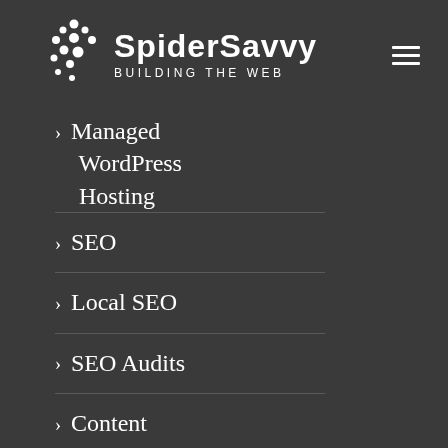SpiderSavvy Building the Web
Managed WordPress Hosting
SEO
Local SEO
SEO Audits
Content